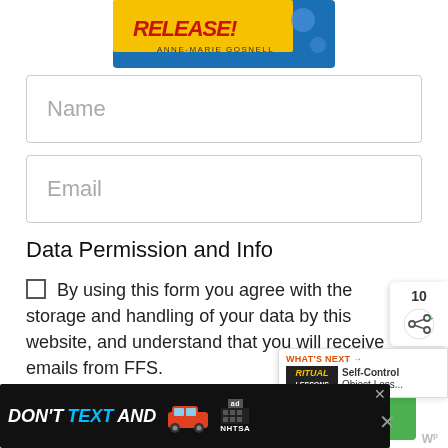[Figure (illustration): Book cover image showing 'RELEASE!' by Anne-Marie Gosnell with colorful design]
Name
Email
Data Permission and Info
By using this form you agree with the storage and handling of your data by this website, and understand that you will receive emails from FFS.
YES! SEND ME THESE LESSONS!
[Figure (screenshot): Share button overlay with count of 10]
[Figure (screenshot): What's Next overlay: Self-Control Object Less...]
[Figure (screenshot): DON'T TEXT AND [car] NHTSA advertisement banner at bottom]